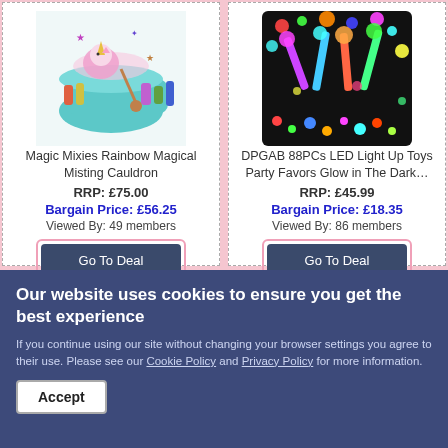[Figure (photo): Magic Mixies Rainbow Magical Misting Cauldron product image - teal cauldron with unicorn and potion bottles]
Magic Mixies Rainbow Magical Misting Cauldron
RRP: £75.00
Bargain Price: £56.25
Viewed By: 49 members
Go To Deal
[Figure (photo): DPGAB 88PCs LED Light Up Toys Party Favors Glow in The Dark product image - colorful glowing LED toys]
DPGAB 88PCs LED Light Up Toys Party Favors Glow in The Dark…
RRP: £45.99
Bargain Price: £18.35
Viewed By: 86 members
Go To Deal
Our website uses cookies to ensure you get the best experience
If you continue using our site without changing your browser settings you agree to their use. Please see our Cookie Policy and Privacy Policy for more information.
Accept